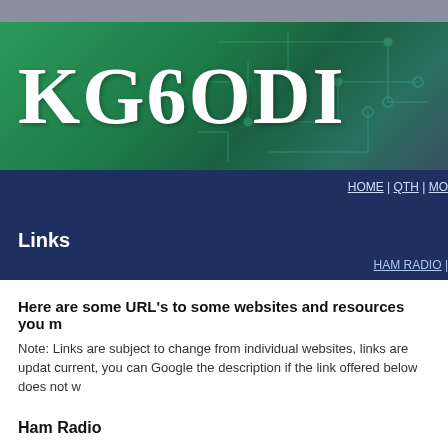[Figure (illustration): Green header banner with circuit board pattern overlay and large white serif text reading KG6ODI]
Links | HOME | QTH | MO... | HAM RADIO |
Links
Here are some URL's to some websites and resources you m...
Note: Links are subject to change from individual websites, links are updated... current, you can Google the description if the link offered below does not w...
Ham Radio
ARRL
QRZ.com